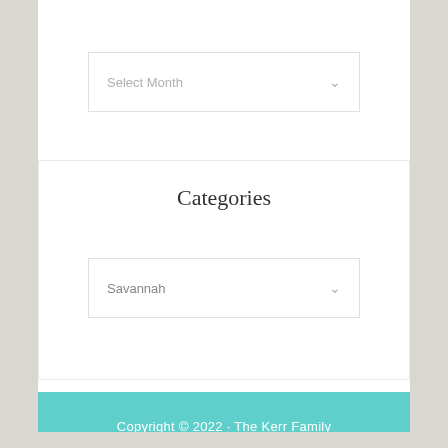[Figure (screenshot): A dropdown select box with placeholder text 'Select Month' and a grey chevron icon on the right]
Categories
[Figure (screenshot): A dropdown select box with selected value 'Savannah' and a grey chevron icon on the right]
Copyright © 2022 · The Kerr Family